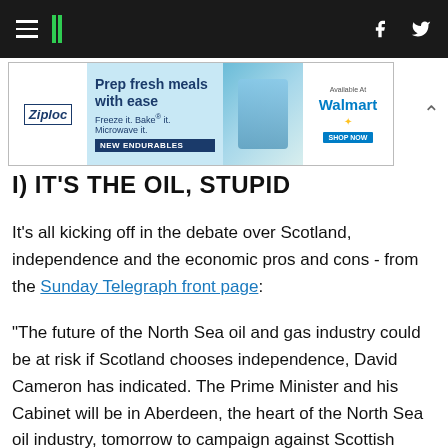HuffPost navigation bar with hamburger menu, logo, facebook and twitter icons
[Figure (other): Ziploc advertisement banner: 'Prep fresh meals with ease. Freeze it. Bake it. Microwave it. NEW ENDURABLES. Available at Walmart.']
I) IT'S THE OIL, STUPID
It's all kicking off in the debate over Scotland, independence and the economic pros and cons - from the Sunday Telegraph front page:
"The future of the North Sea oil and gas industry could be at risk if Scotland chooses independence, David Cameron has indicated. The Prime Minister and his Cabinet will be in Aberdeen, the heart of the North Sea oil industry, tomorrow to campaign against Scottish independence ahead of the referendum in